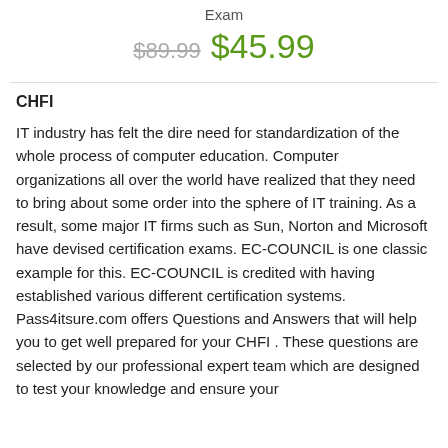Exam
$89.99  $45.99
CHFI
IT industry has felt the dire need for standardization of the whole process of computer education. Computer organizations all over the world have realized that they need to bring about some order into the sphere of IT training. As a result, some major IT firms such as Sun, Norton and Microsoft have devised certification exams. EC-COUNCIL is one classic example for this. EC-COUNCIL is credited with having established various different certification systems.
Pass4itsure.com offers Questions and Answers that will help you to get well prepared for your CHFI . These questions are selected by our professional expert team which are designed to test your knowledge and ensure your